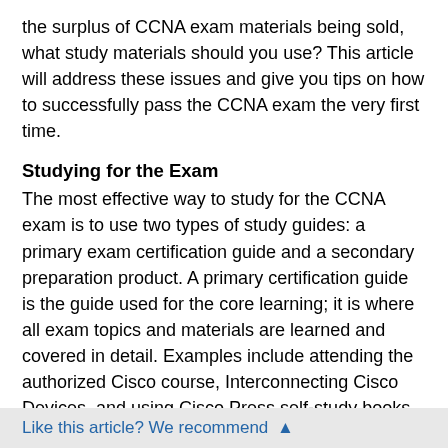the surplus of CCNA exam materials being sold, what study materials should you use? This article will address these issues and give you tips on how to successfully pass the CCNA exam the very first time.
Studying for the Exam
The most effective way to study for the CCNA exam is to use two types of study guides: a primary exam certification guide and a secondary preparation product. A primary certification guide is the guide used for the core learning; it is where all exam topics and materials are learned and covered in detail. Examples include attending the authorized Cisco course, Interconnecting Cisco Devices, and using Cisco Press self-study books such as the CCNA Certification Library (CCNA Self-Study), exam which includes) CCNA INTRO Exam Certification Guide (CCNA Self-Study, exam #640-821) and CCNA ICND Exam Certification Guide (CCNA Self-Study, exam #640-811) by Wendell Odom. By using a primary study guide, you will build a foundation and have a solid understanding of the topics and technologies covered on the CCNA exam. After you have gained a sound understanding, the next step
Like this article? We recommend